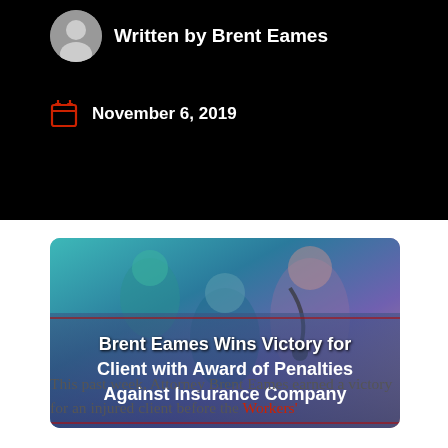Written by Brent Eames
November 6, 2019
[Figure (photo): Hero image showing medical professionals; overlay with text 'Brent Eames Wins Victory for Client with Award of Penalties Against Insurance Company']
Brent Eames Wins Victory for Client with Award of Penalties Against Insurance Company
This past week, Attorney Brent Eames earned a victory for an injured client before the Workers'